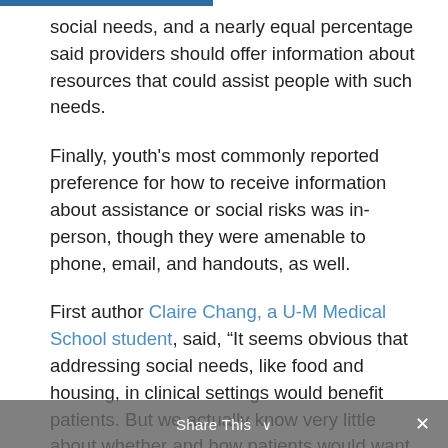social needs, and a nearly equal percentage said providers should offer information about resources that could assist people with such needs.
Finally, youth's most commonly reported preference for how to receive information about assistance or social risks was in-person, though they were amenable to phone, email, and handouts, as well.
First author Claire Chang, a U-M Medical School student, said, “It seems obvious that addressing social needs, like food and housing, in clinical settings would benefit patients. But we actually know very little about whether and how patients would want to receive this kind of
Share This ∨  ×